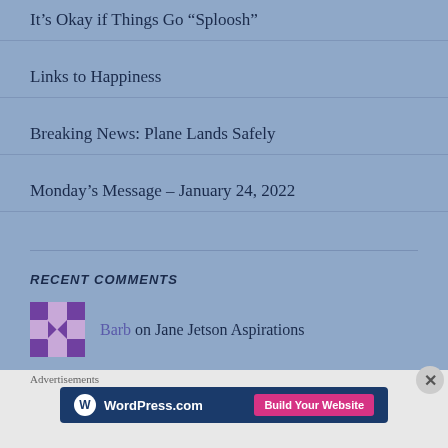It's Okay if Things Go “Sploosh”
Links to Happiness
Breaking News: Plane Lands Safely
Monday’s Message – January 24, 2022
RECENT COMMENTS
Barb on Jane Jetson Aspirations
Advertisements
[Figure (logo): WordPress.com Build Your Website advertisement banner]